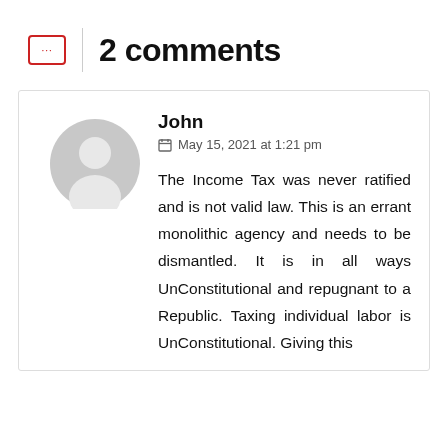2 comments
John
May 15, 2021 at 1:21 pm
The Income Tax was never ratified and is not valid law. This is an errant monolithic agency and needs to be dismantled. It is in all ways UnConstitutional and repugnant to a Republic. Taxing individual labor is UnConstitutional. Giving this